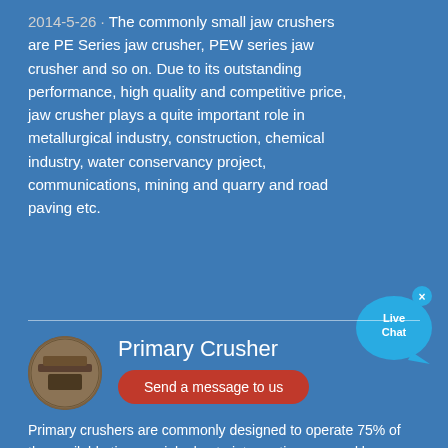2014-5-26 · The commonly small jaw crushers are PE Series jaw crusher, PEW series jaw crusher and so on. Due to its outstanding performance, high quality and competitive price, jaw crusher plays a quite important role in metallurgical industry, construction, chemical industry, water conservancy project, communications, mining and quarry and road paving etc.
[Figure (other): Live Chat bubble button with close icon (×)]
[Figure (photo): Oval thumbnail photo of a primary crusher machine]
Primary Crusher
Send a message to us
Primary crushers are commonly designed to operate 75% of the available time, mainly due to interruptions caused by insufficient crusher feed and mechanical delays (Lewis et al., 1976; McQuiston and Shoemaker, 1978; Major,